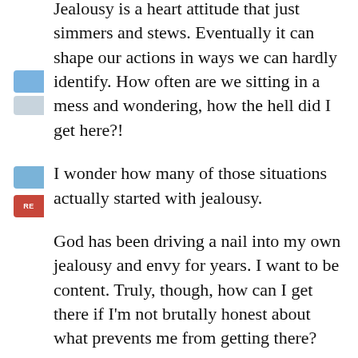Jealousy is a heart attitude that just simmers and stews. Eventually it can shape our actions in ways we can hardly identify. How often are we sitting in a mess and wondering, how the hell did I get here?!
I wonder how many of those situations actually started with jealousy.
God has been driving a nail into my own jealousy and envy for years. I want to be content. Truly, though, how can I get there if I'm not brutally honest about what prevents me from getting there?
The big lie is that if only I could obtain that object of desire (a material possession, a type